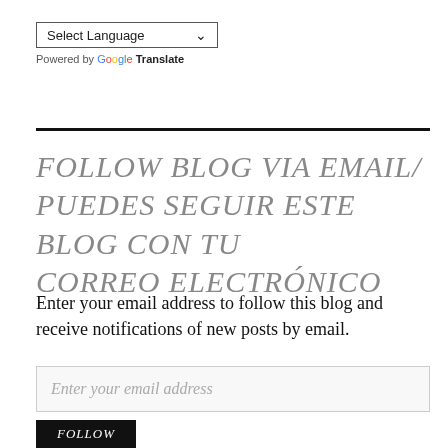[Figure (screenshot): Language selector dropdown showing 'Select Language' with a dropdown arrow, followed by 'Powered by Google Translate' text with Google branding colors]
FOLLOW BLOG VIA EMAIL/ PUEDES SEGUIR ESTE BLOG CON TU CORREO ELECTRÓNICO
Enter your email address to follow this blog and receive notifications of new posts by email.
Enter your email address
FOLLOW